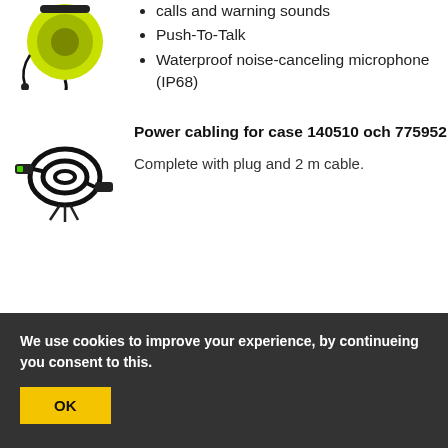[Figure (photo): Yellow and black hearing protection headset with cable, partially visible at top]
calls and warning sounds
Push-To-Talk
Waterproof noise-canceling microphone (IP68)
[Figure (photo): Black power cabling/cables coiled with connector plugs]
Power cabling for case 140510 och 775952
Complete with plug and 2 m cable.
We use cookies to improve your experience, by continueing you consent to this.
OK